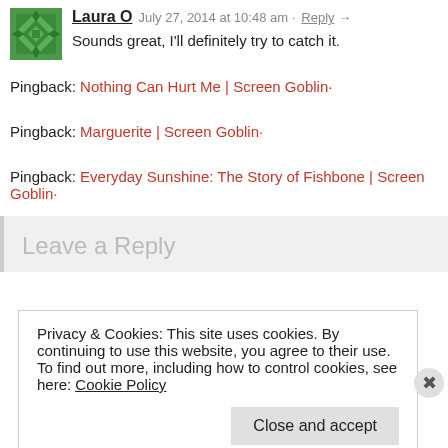Laura O  July 27, 2014 at 10:48 am · Reply →
Sounds great, I'll definitely try to catch it.
Pingback: Nothing Can Hurt Me | Screen Goblin·
Pingback: Marguerite | Screen Goblin·
Pingback: Everyday Sunshine: The Story of Fishbone | Screen Goblin·
Leave a Reply
Privacy & Cookies: This site uses cookies. By continuing to use this website, you agree to their use.
To find out more, including how to control cookies, see here: Cookie Policy
Close and accept